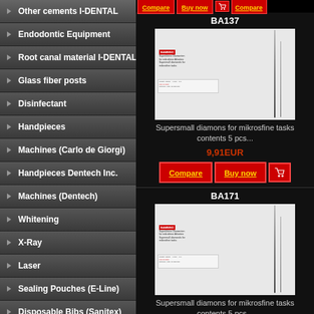Other cements I-DENTAL
Endodontic Equipment
Root canal material I-DENTAL
Glass fiber posts
Disinfectant
Handpieces
Machines (Carlo de Giorgi)
Handpieces Dentech Inc.
Machines (Dentech)
Whitening
X-Ray
Laser
Sealing Pouches (E-Line)
Disposable Bibs (Sanitex)
Disposable dental needles
Gloves
Cups
Paper Headrest Covers
Impression materials HDI
silicon / impression material DFL
Others
Dental Rolls
BA137
[Figure (photo): Product image of Bambino supersmall diamonds for mikrosfine tasks, showing dental burs/needles against white background with product label]
Supersmall diamons for mikrosfine tasks contents 5 pcs...
9,91EUR
BA171
[Figure (photo): Product image of Bambino supersmall diamonds for mikrosfine tasks, showing dental burs/needles against white background with product label]
Supersmall diamons for mikrosfine tasks contents 5 pcs...